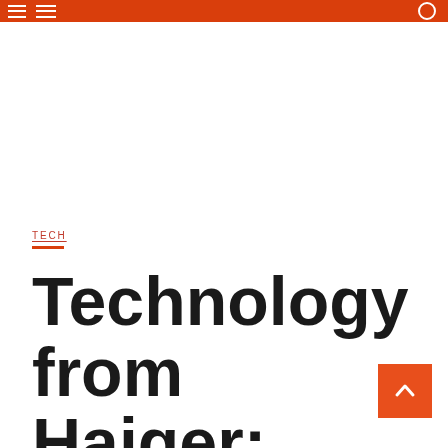Navigation bar with hamburger menu icon
TECH
Technology from Haiger: industrial